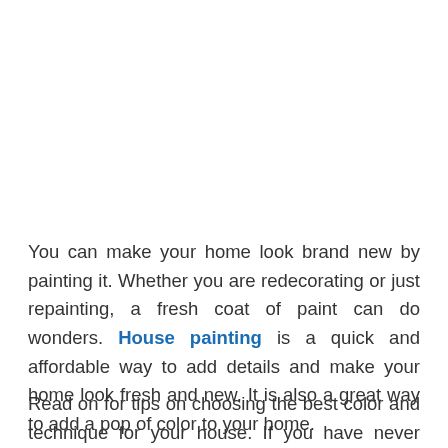You can make your home look brand new by painting it. Whether you are redecorating or just repainting, a fresh coat of paint can do wonders. House painting is a quick and affordable way to add details and make your home look fresh and new. It is also a great way to add a pop of color to your home.
Read on for tips on choosing the best color and technique for your house. If you have never painted